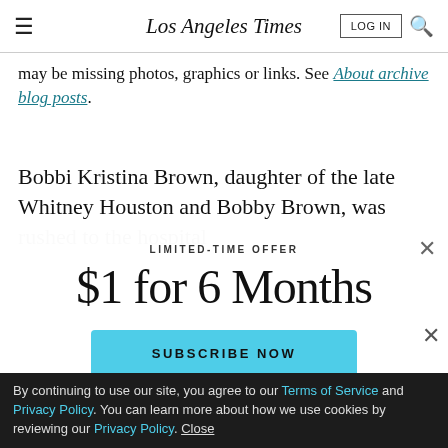Los Angeles Times
may be missing photos, graphics or links. See About archive blog posts.
Bobbi Kristina Brown, daughter of the late Whitney Houston and Bobby Brown, was rushed to the hospital
LIMITED-TIME OFFER
$1 for 6 Months
SUBSCRIBE NOW
By continuing to use our site, you agree to our Terms of Service and Privacy Policy. You can learn more about how we use cookies by reviewing our Privacy Policy. Close